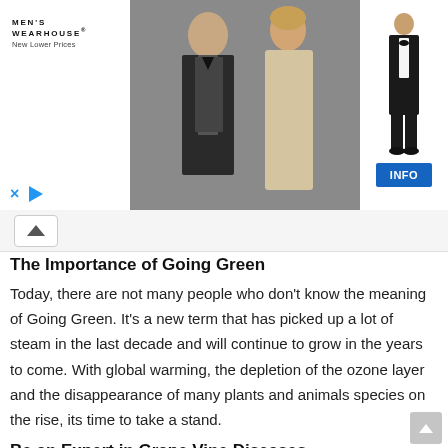[Figure (photo): Men's Wearhouse advertisement banner showing a couple (man in dark suit, woman in formal dress) and a man in tuxedo with INFO button]
The Importance of Going Green
Today, there are not many people who don't know the meaning of Going Green. It's a new term that has picked up a lot of steam in the last decade and will continue to grow in the years to come. With global warming, the depletion of the ozone layer and the disappearance of many plants and animals species on the rise, its time to take a stand.
Be an Expert in Grape Vine Diseases
Grape plants face many adversaries as it grow season after season. These are birds, pests, and other grape vine diseases that could affect its crops or eventually result to the death of